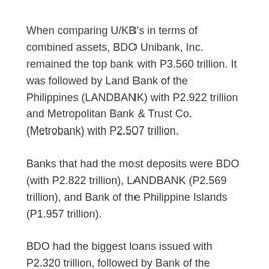When comparing U/KB's in terms of combined assets, BDO Unibank, Inc. remained the top bank with P3.560 trillion. It was followed by Land Bank of the Philippines (LANDBANK) with P2.922 trillion and Metropolitan Bank & Trust Co. (Metrobank) with P2.507 trillion.
Banks that had the most deposits were BDO (with P2.822 trillion), LANDBANK (P2.569 trillion), and Bank of the Philippine Islands (P1.957 trillion).
BDO had the biggest loans issued with P2.320 trillion, followed by Bank of the Philippine Islands and Metrobank with P1.471 trillion and P1.209 trillion, respectively.